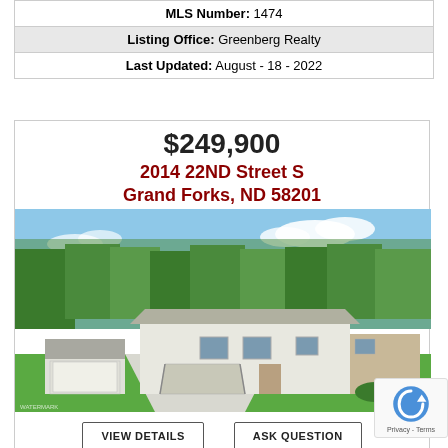| MLS Number: 1474 |
| Listing Office: Greenberg Realty |
| Last Updated: August - 18 - 2022 |
$249,900
2014 22ND Street S
Grand Forks, ND 58201
[Figure (photo): Exterior photo of a single-story ranch house with white siding, attached ramp, detached garage, green lawn, and trees in background under blue sky.]
VIEW DETAILS   ASK QUESTION